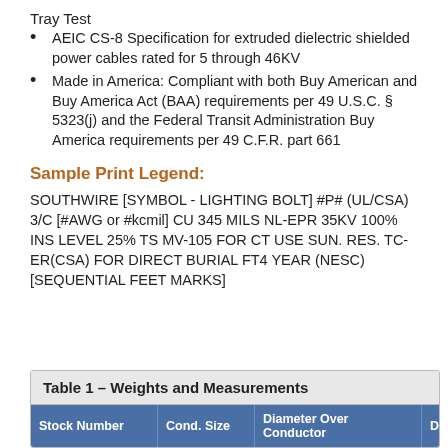Tray Test
AEIC CS-8 Specification for extruded dielectric shielded power cables rated for 5 through 46KV
Made in America: Compliant with both Buy American and Buy America Act (BAA) requirements per 49 U.S.C. § 5323(j) and the Federal Transit Administration Buy America requirements per 49 C.F.R. part 661
Sample Print Legend:
SOUTHWIRE [SYMBOL - LIGHTING BOLT] #P# (UL/CSA) 3/C [#AWG or #kcmil] CU 345 MILS NL-EPR 35KV 100% INS LEVEL 25% TS MV-105 FOR CT USE SUN. RES. TC-ER(CSA) FOR DIRECT BURIAL FT4 YEAR (NESC) [SEQUENTIAL FEET MARKS]
| Stock Number | Cond. Size | Diameter Over Conductor | Dia |
| --- | --- | --- | --- |